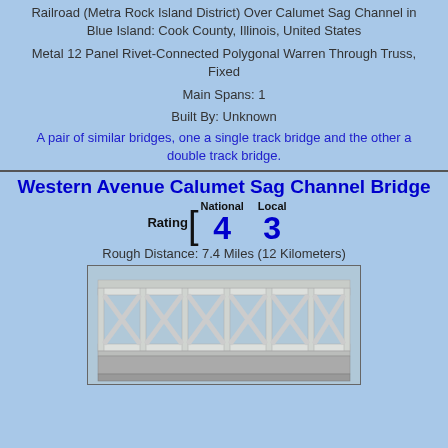Railroad (Metra Rock Island District) Over Calumet Sag Channel in Blue Island: Cook County, Illinois, United States
Metal 12 Panel Rivet-Connected Polygonal Warren Through Truss, Fixed
Main Spans: 1
Built By: Unknown
A pair of similar bridges, one a single track bridge and the other a double track bridge.
Western Avenue Calumet Sag Channel Bridge
Rating [ National 4  Local 3
Rough Distance: 7.4 Miles (12 Kilometers)
[Figure (photo): Photo of a white metal truss bridge structure showing diagonal cross-bracing members against a light blue sky]